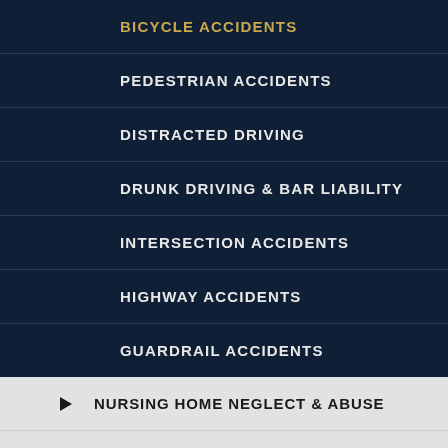BICYCLE ACCIDENTS
PEDESTRIAN ACCIDENTS
DISTRACTED DRIVING
DRUNK DRIVING & BAR LIABILITY
INTERSECTION ACCIDENTS
HIGHWAY ACCIDENTS
GUARDRAIL ACCIDENTS
NURSING HOME NEGLECT & ABUSE
PREMISES LIABILITY OVERVIEW